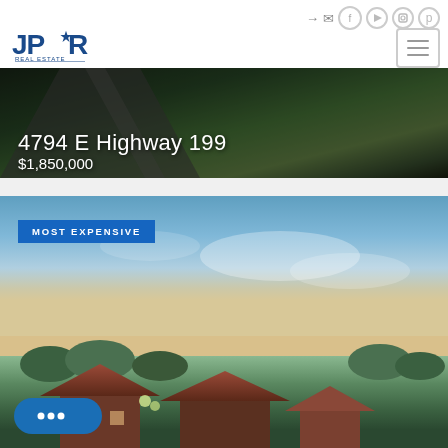[Figure (screenshot): JPR Real Estate website screenshot showing navigation header with logo, social icons, hamburger menu, a property banner image with aerial view showing '4794 E Highway 199' and price '$1,850,000', and a second property photo with 'MOST EXPENSIVE' badge and a chat button]
4794 E Highway 199
$1,850,000
MOST EXPENSIVE